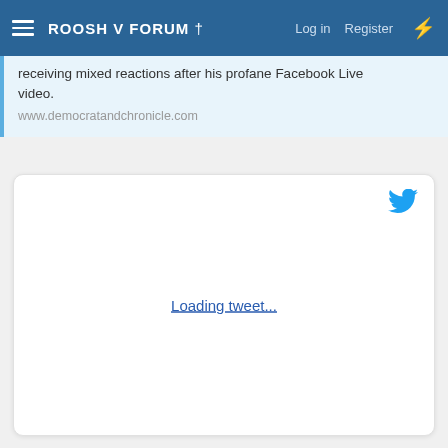ROOSH V FORUM †  Log in  Register
receiving mixed reactions after his profane Facebook Live video.
www.democratandchronicle.com
[Figure (screenshot): Embedded tweet loading placeholder with Twitter bird icon and 'Loading tweet...' link text inside a white rounded card.]